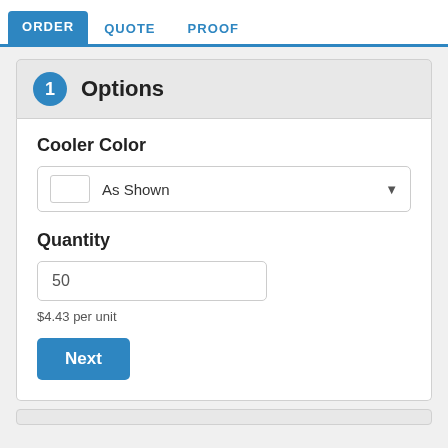ORDER   QUOTE   PROOF
1  Options
Cooler Color
As Shown
Quantity
50
$4.43 per unit
Next